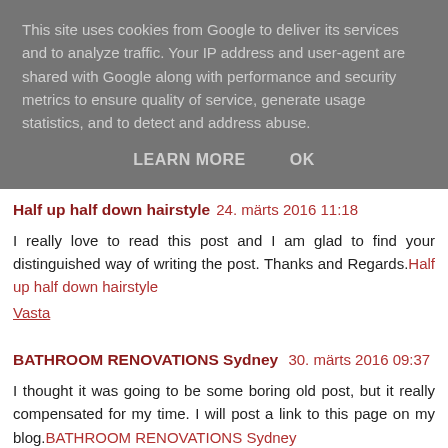This site uses cookies from Google to deliver its services and to analyze traffic. Your IP address and user-agent are shared with Google along with performance and security metrics to ensure quality of service, generate usage statistics, and to detect and address abuse.
LEARN MORE   OK
Half up half down hairstyle  24. märts 2016 11:18
I really love to read this post and I am glad to find your distinguished way of writing the post. Thanks and Regards.Half up half down hairstyle
Vasta
BATHROOM RENOVATIONS Sydney  30. märts 2016 09:37
I thought it was going to be some boring old post, but it really compensated for my time. I will post a link to this page on my blog.BATHROOM RENOVATIONS Sydney
Vasta